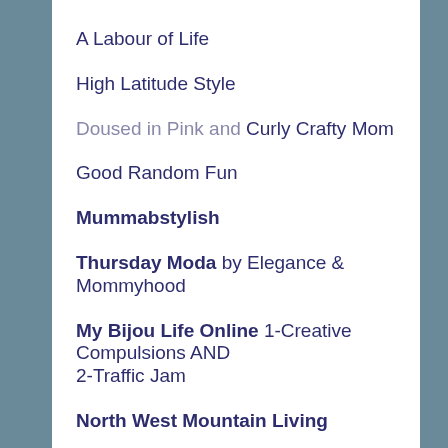A Labour of Life
High Latitude Style
Doused in Pink and Curly Crafty Mom
Good Random Fun
Mummabstylish
Thursday Moda by Elegance & Mommyhood
My Bijou Life Online 1-Creative Compulsions AND 2-Traffic Jam
North West Mountain Living
FRIDAY Links:
I also do a Link Party every Friday! Confessions of